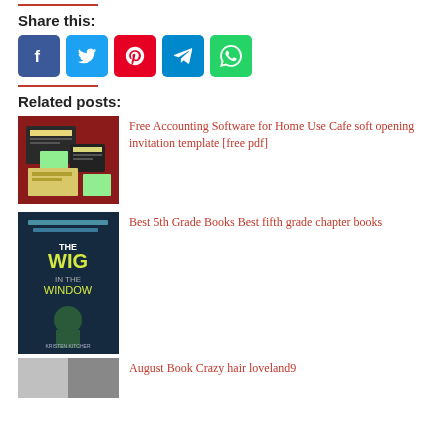Share this:
[Figure (infographic): Social share buttons: Facebook (blue), Twitter (light blue), Pinterest (red), Telegram (blue), WhatsApp (green)]
Related posts:
[Figure (photo): Thumbnail for Free Accounting Software post showing software interface on red background]
Free Accounting Software for Home Use Cafe soft opening invitation template [free pdf]
[Figure (photo): Book cover: The Wig in the Window by Kristen Kitcher, dark blue illustration]
Best 5th Grade Books Best fifth grade chapter books
[Figure (photo): Thumbnail for August Book Crazy hair loveland9 post]
August Book Crazy hair loveland9